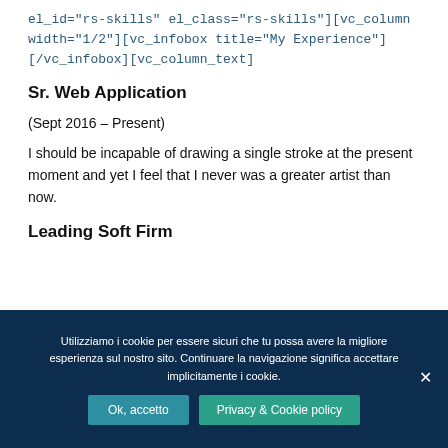el_id="rs-skills" el_class="rs-skills"][vc_column width="1/2"][vc_infobox title="My Experience"] [/vc_infobox][vc_column_text]
Sr. Web Application
(Sept 2016 – Present)
I should be incapable of drawing a single stroke at the present moment and yet I feel that I never was a greater artist than now.
Leading Soft Firm
Utilizziamo i cookie per essere sicuri che tu possa avere la migliore esperienza sul nostro sito. Continuare la navigazione significa accettare implicitamente i cookie.
Ok, accetto
Privacy & Cookie policy